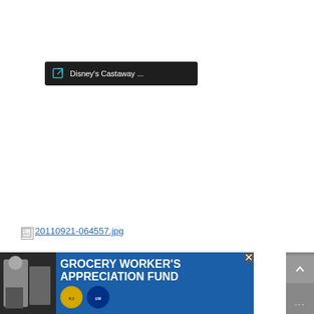[Figure (screenshot): Dark navigation bar/tooltip with external link icon and text 'Disney's Castaway ...']
[Figure (screenshot): Broken image placeholder with link text '20110921-064557.jpg']
[Figure (screenshot): Broken image placeholder (second, partially visible)]
[Figure (screenshot): Advertisement banner: GROCERY WORKER'S APPRECIATION FUND with Kendall-Jackson and United Way logos, close button, scroll controls]